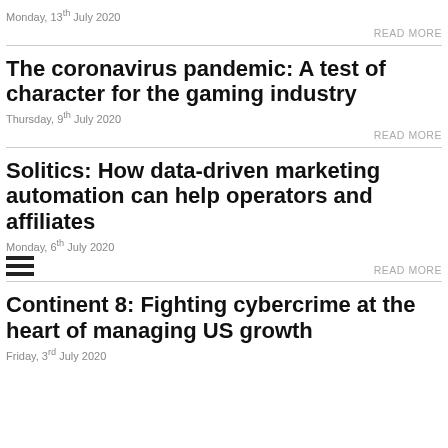Monday, 13th July 2020
READ MORE
The coronavirus pandemic: A test of character for the gaming industry
Thursday, 9th July 2020
READ MORE
Solitics: How data-driven marketing automation can help operators and affiliates
Monday, 6th July 2020
READ MORE
Continent 8: Fighting cybercrime at the heart of managing US growth
Friday, 3rd July 2020